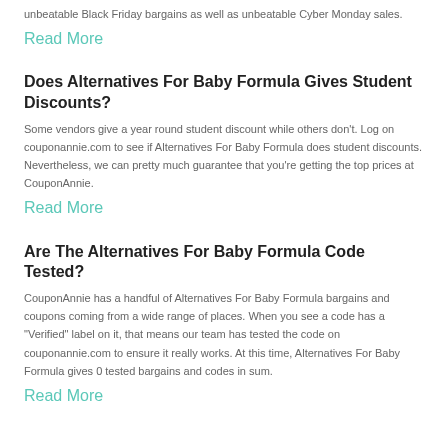unbeatable Black Friday bargains as well as unbeatable Cyber Monday sales.
Read More
Does Alternatives For Baby Formula Gives Student Discounts?
Some vendors give a year round student discount while others don't. Log on couponannie.com to see if Alternatives For Baby Formula does student discounts. Nevertheless, we can pretty much guarantee that you're getting the top prices at CouponAnnie.
Read More
Are The Alternatives For Baby Formula Code Tested?
CouponAnnie has a handful of Alternatives For Baby Formula bargains and coupons coming from a wide range of places. When you see a code has a "Verified" label on it, that means our team has tested the code on couponannie.com to ensure it really works. At this time, Alternatives For Baby Formula gives 0 tested bargains and codes in sum.
Read More